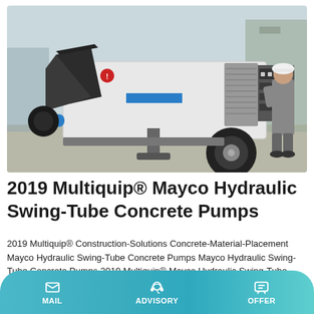[Figure (photo): A 2019 Multiquip Mayco Hydraulic Swing-Tube Concrete Pump on a trailer/cart, with a technician/worker in grey coveralls inspecting or operating the machine. The machine is white with a blue stripe and a large black hopper. Set in an outdoor industrial or construction site environment.]
2019 Multiquip® Mayco Hydraulic Swing-Tube Concrete Pumps
2019 Multiquip® Construction-Solutions Concrete-Material-Placement Mayco Hydraulic Swing-Tube Concrete Pumps Mayco Hydraulic Swing-Tube Concrete Pumps 2019 Multiquip® Mayco Hydraulic Swing-Tube Concrete Pumps LS500
MAIL  ADVISORY  OFFER